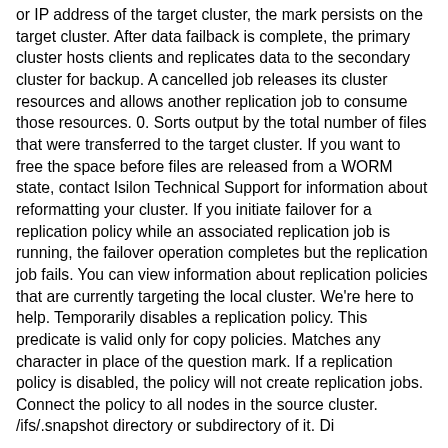or IP address of the target cluster, the mark persists on the target cluster. After data failback is complete, the primary cluster hosts clients and replicates data to the secondary cluster for backup. A cancelled job releases its cluster resources and allows another replication job to consume those resources. 0. Sorts output by the total number of files that were transferred to the target cluster. If you want to free the space before files are released from a WORM state, contact Isilon Technical Support for information about reformatting your cluster. If you initiate failover for a replication policy while an associated replication job is running, the failover operation completes but the replication job fails. You can view information about replication policies that are currently targeting the local cluster. We're here to help. Temporarily disables a replication policy. This predicate is valid only for copy policies. Matches any character in place of the question mark. If a replication policy is disabled, the policy will not create replication jobs. Connect the policy to all nodes in the source cluster. /ifs/.snapshot directory or subdirectory of it. Di...